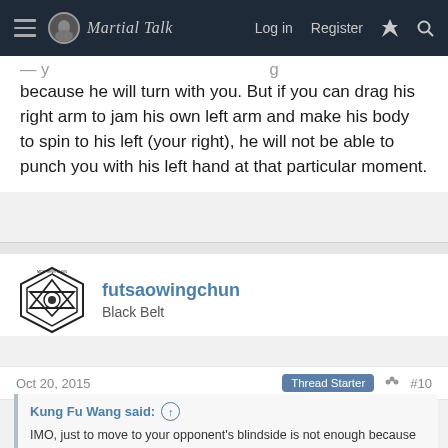Martial Talk — Log in   Register
because he will turn with you. But if you can drag his right arm to jam his own left arm and make his body to spin to his left (your right), he will not be able to punch you with his left hand at that particular moment.
futsaowingchun
Black Belt
Oct 20, 2015   Thread Starter   #10
Kung Fu Wang said:
IMO, just to move to your opponent's blindside is not enough because he will turn with you. But if you can drag his right arm to jam his own left arm and make his body to spin to his left (your right), he will not be able to punch you with his left hand at that particular moment.